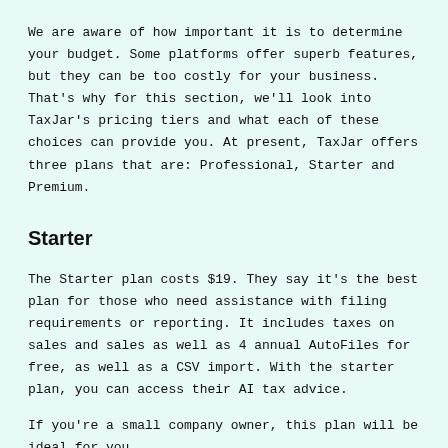We are aware of how important it is to determine your budget. Some platforms offer superb features, but they can be too costly for your business. That's why for this section, we'll look into TaxJar's pricing tiers and what each of these choices can provide you. At present, TaxJar offers three plans that are: Professional, Starter and Premium.
Starter
The Starter plan costs $19. They say it's the best plan for those who need assistance with filing requirements or reporting. It includes taxes on sales and sales as well as 4 annual AutoFiles for free, as well as a CSV import. With the starter plan, you can access their AI tax advice.
If you're a small company owner, this plan will be ideal for you.